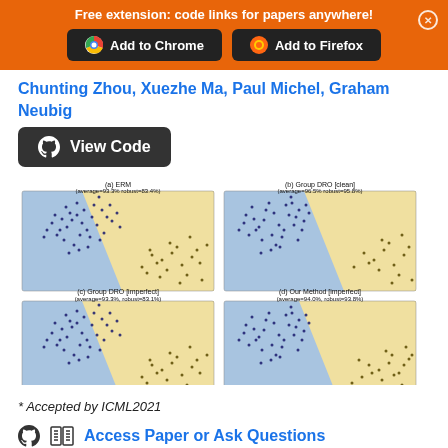Free extension: code links for papers anywhere!
Add to Chrome | Add to Firefox
Chunting Zhou, Xuezhe Ma, Paul Michel, Graham Neubig
View Code
[Figure (continuous-plot): Four scatter plots arranged in a 2x2 grid showing data distributions for (a) ERM (average=93.3% robust=83.4%), (b) Group DRO [clean] (average=96.5% robust=95.8%), (c) Group DRO [imperfect] (average=93.3%, robust=83.1%), (d) Our Method [imperfect] (average=94.0%, robust=93.8%). Each plot shows blue and yellow background regions with dark blue/yellow scattered data points.]
* Accepted by ICML2021
Access Paper or Ask Questions